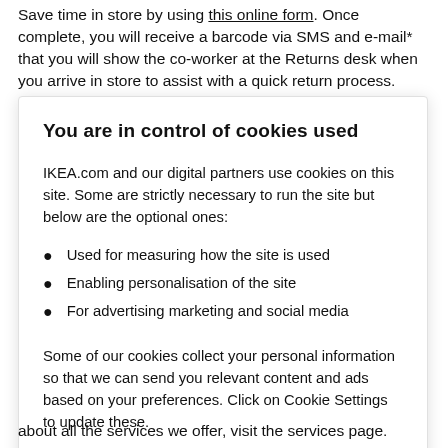Save time in store by using this online form. Once complete, you will receive a barcode via SMS and e-mail* that you will show the co-worker at the Returns desk when you arrive in store to assist with a quick return process.
You are in control of cookies used
IKEA.com and our digital partners use cookies on this site. Some are strictly necessary to run the site but below are the optional ones:
Used for measuring how the site is used
Enabling personalisation of the site
For advertising marketing and social media
Some of our cookies collect your personal information so that we can send you relevant content and ads based on your preferences. Click on Cookie Settings to update these.
about all the services we offer, visit the services page.